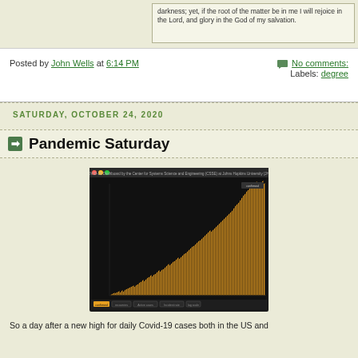darkness; yet, if the root of the matter be in me I will rejoice in the Lord, and glory in the God of my salvation.
Posted by John Wells at 6:14 PM
No comments:
Labels: degree
SATURDAY, OCTOBER 24, 2020
Pandemic Saturday
[Figure (screenshot): COVID-19 Dashboard by the Center for Systems Science and Engineering (CSSE) at Johns Hopkins University [JHU] showing a bar chart of daily confirmed cases growing steeply from early 2020 through October 2020, with orange/gold bars on a dark background.]
So a day after a new high for daily Covid-19 cases both in the US and